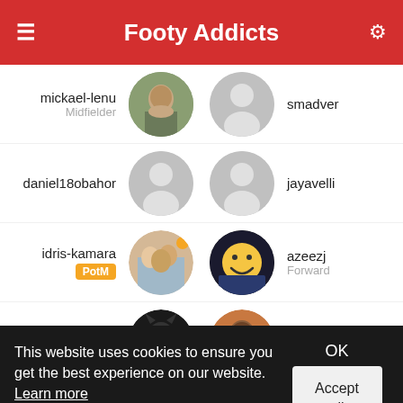Footy Addicts
[Figure (screenshot): Player listing row: mickael-lenu (Midfielder) with photo avatar and smadver with grey placeholder avatar]
[Figure (screenshot): Player listing row: daniel18obahor with grey placeholder avatar and jayavelli with grey placeholder avatar]
[Figure (screenshot): Player listing row: idris-kamara (PotM badge) with group photo avatar and azeezj (Forward) with emoji avatar]
[Figure (screenshot): Player listing row: tomiwa with Black Panther avatar and kfootyd with footballer avatar]
This website uses cookies to ensure you get the best experience on our website. Learn more
OK
Accept all cookies